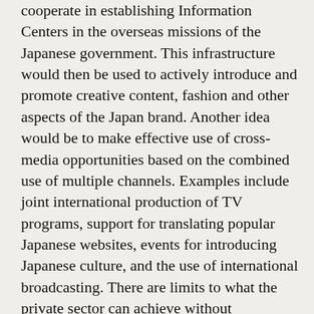cooperate in establishing Information Centers in the overseas missions of the Japanese government. This infrastructure would then be used to actively introduce and promote creative content, fashion and other aspects of the Japan brand. Another idea would be to make effective use of cross-media opportunities based on the combined use of multiple channels. Examples include joint international production of TV programs, support for translating popular Japanese websites, events for introducing Japanese culture, and the use of international broadcasting. There are limits to what the private sector can achieve without government assistance. Conversely, if the government were to work alone, the scope of its initiatives would be narrowed. Thus, the important thing here is to ensure close cooperation and collaboration between the public and private arms.